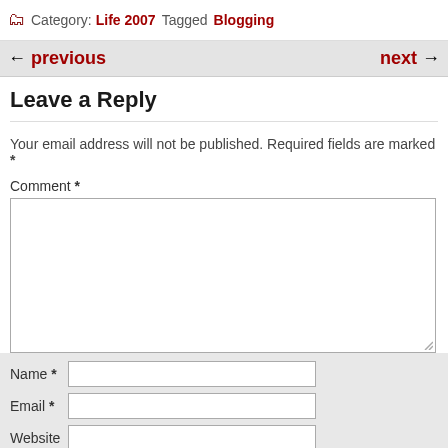Category: Life 2007 Tagged Blogging
← previous   next →
Leave a Reply
Your email address will not be published. Required fields are marked *
Comment *
Name *
Email *
Website